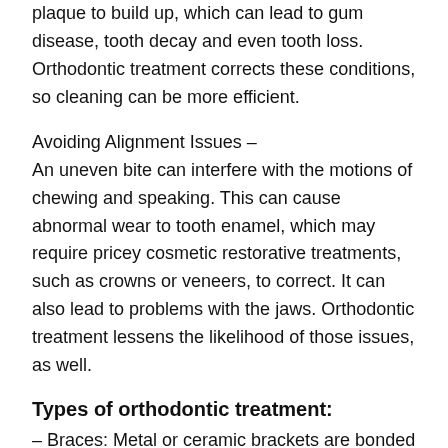plaque to build up, which can lead to gum disease, tooth decay and even tooth loss. Orthodontic treatment corrects these conditions, so cleaning can be more efficient.
Avoiding Alignment Issues –
An uneven bite can interfere with the motions of chewing and speaking. This can cause abnormal wear to tooth enamel, which may require pricey cosmetic restorative treatments, such as crowns or veneers, to correct. It can also lead to problems with the jaws. Orthodontic treatment lessens the likelihood of those issues, as well.
Types of orthodontic treatment:
– Braces: Metal or ceramic brackets are bonded to